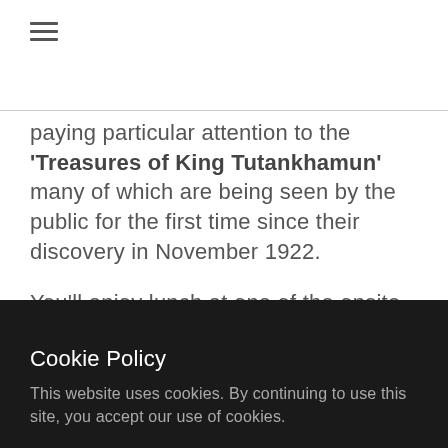≡
paying particular attention to the 'Treasures of King Tutankhamun' many of which are being seen by the public for the first time since their discovery in November 1922.

You'll enjoy lunch at one of the onsite establishments before wandering off on your own to view artifacts from dynasties
Cookie Policy
This website uses cookies. By continuing to use this site, you accept our use of cookies.